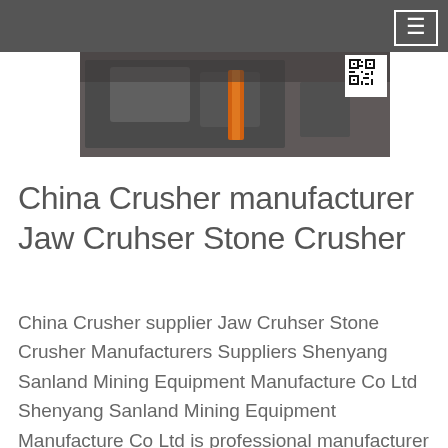[Figure (photo): Industrial crushing machinery/equipment photograph, partially visible, showing mechanical components with an orange element and a QR code in the top right corner]
China Crusher manufacturer Jaw Cruhser Stone Crusher
China Crusher supplier Jaw Cruhser Stone Crusher Manufacturers Suppliers Shenyang Sanland Mining Equipment Manufacture Co Ltd Shenyang Sanland Mining Equipment Manufacture Co Ltd is professional manufacturer of crushing and screening…